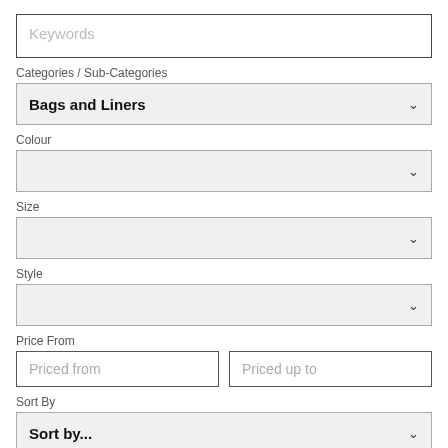Keywords
Categories / Sub-Categories
Bags and Liners
Colour
Size
Style
Price From
Priced from
Priced up to
Sort By
Sort by...